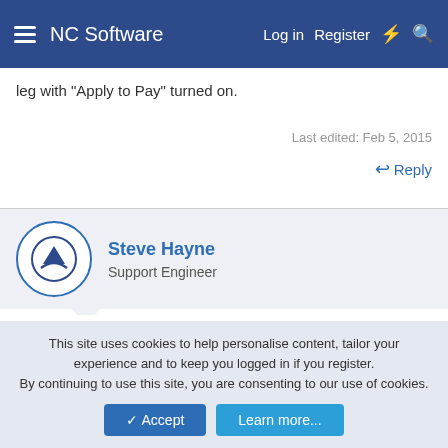NC Software — Log in  Register
leg with "Apply to Pay" turned on.
Last edited: Feb 5, 2015
Reply
Steve Hayne
Support Engineer
Feb 5, 2015  #15
pcohen said:
So I figured the only way to correct the credit was to change RTG back to block. Look at the block total for the trip. It isn't even correct!
This site uses cookies to help personalise content, tailor your experience and to keep you logged in if you register.
By continuing to use this site, you are consenting to our use of cookies.